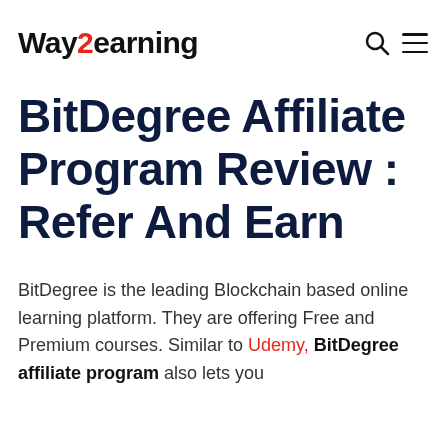Way2earning
BitDegree Affiliate Program Review : Refer And Earn
BitDegree is the leading Blockchain based online learning platform. They are offering Free and Premium courses. Similar to Udemy, BitDegree affiliate program also lets you